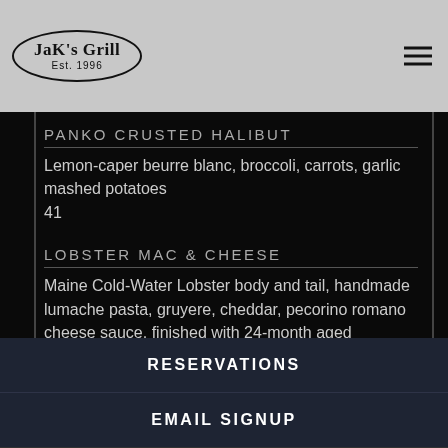JaK's Grill Est. 1996
PANKO CRUSTED HALIBUT
Lemon-caper beurre blanc, broccoli, carrots, garlic mashed potatoes
41
LOBSTER MAC & CHEESE
Maine Cold-Water Lobster body and tail, handmade lumache pasta, gruyere, cheddar, pecorino romano cheese sauce, finished with 24-month aged parmesan reggiano
36
RESERVATIONS
EMAIL SIGNUP